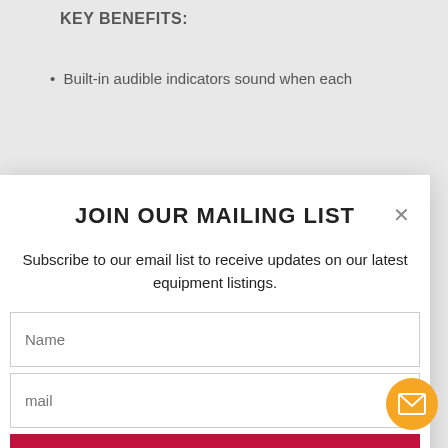KEY BENEFITS:
Built-in audible indicators sound when each
JOIN OUR MAILING LIST
Subscribe to our email list to receive updates on our latest equipment listings.
Name
mail
Sign Up!
effectively be used on all skin types.
MAXIMIZE YOUR REVENUE & BOTTOM LINE